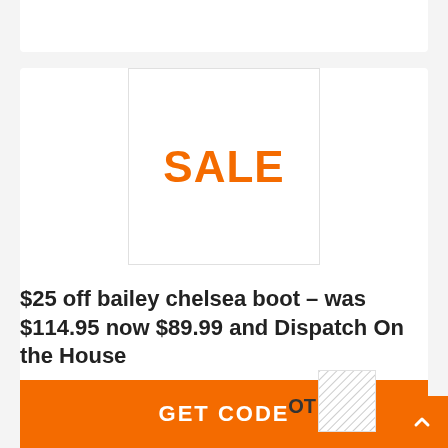[Figure (other): A white square box with border containing the word SALE in large bold orange text, serving as a product/sale image placeholder]
$25 off bailey chelsea boot – was $114.95 now $89.99 and Dispatch On the House
GET CODE